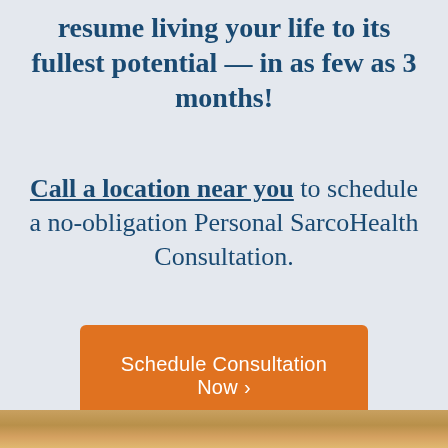resume living your life to its fullest potential — in as few as 3 months!
Call a location near you to schedule a no-obligation Personal SarcoHealth Consultation.
Schedule Consultation Now ›
[Figure (photo): Bottom strip showing partial photo at bottom of page]